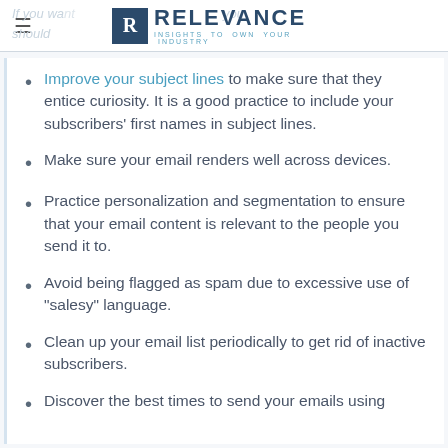RELEVANCE — INSIGHTS TO OWN YOUR INDUSTRY
Improve your subject lines to make sure that they entice curiosity. It is a good practice to include your subscribers' first names in subject lines.
Make sure your email renders well across devices.
Practice personalization and segmentation to ensure that your email content is relevant to the people you send it to.
Avoid being flagged as spam due to excessive use of "salesy" language.
Clean up your email list periodically to get rid of inactive subscribers.
Discover the best times to send your emails using